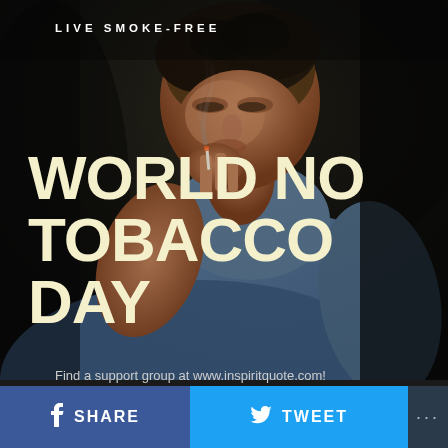[Figure (photo): A man in a denim jacket smoking a cigarette, photographed against a dark background. He is looking downward with his hand raised to his mouth.]
LIVE SMOKE-FREE
WORLD NO TOBACCO DAY
Find a support group at www.inspiritquote.com!
SHARE   TWEET   ...